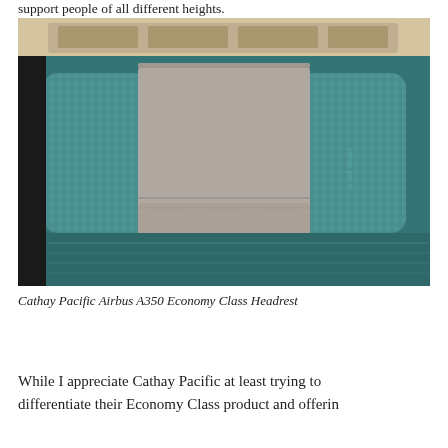support people of all different heights.
[Figure (photo): Photo of a Cathay Pacific Airbus A350 Economy Class headrest. The headrest is teal/blue patterned fabric with a grey adjustable flap/cushion in the center. The seat back below is also teal blue fabric.]
Cathay Pacific Airbus A350 Economy Class Headrest
While I appreciate Cathay Pacific at least trying to differentiate their Economy Class product and offerin